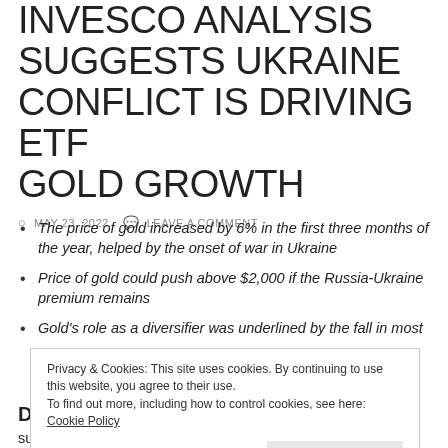INVESCO ANALYSIS SUGGESTS UKRAINE CONFLICT IS DRIVING ETF GOLD GROWTH
MAY 23, 2022   LEAVE A COMMENT
The price of gold increased by 6% in the first three months of the year, helped by the onset of war in Ukraine
Price of gold could push above $2,000 if the Russia-Ukraine premium remains
Gold's role as a diversifier was underlined by the fall in most
Privacy & Cookies: This site uses cookies. By continuing to use this website, you agree to their use.
To find out more, including how to control cookies, see here: Cookie Policy
suggest that geopolitical tensions during the first months of